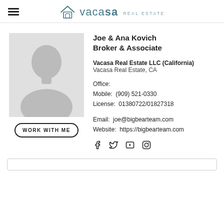vacasa REAL ESTATE
[Figure (photo): Agent profile placeholder silhouette photo in gray]
Joe & Ana Kovich
Broker & Associate
Vacasa Real Estate LLC (California)
Vacasa Real Estate, CA
Office:
Mobile: (909) 521-0330
License: 01380722/01827318
Email: joe@bigbearteam.com
Website: https://bigbearteam.com
[Figure (illustration): Social media icons: Facebook, Twitter, YouTube, Instagram]
WORK WITH ME